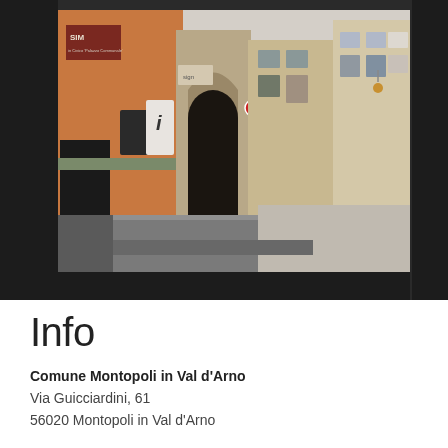[Figure (photo): Photograph of an Italian street scene in Montopoli in Val d'Arno showing historic buildings, a tourism information sign, an arched doorway, and a road through the town center, with a dark background/border around the main image.]
Info
Comune Montopoli in Val d'Arno
Via Guicciardini, 61
56020 Montopoli in Val d'Arno